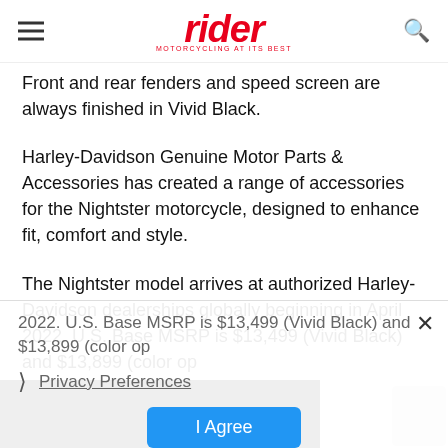rider — MOTORCYCLING AT ITS BEST
Front and rear fenders and speed screen are always finished in Vivid Black.
Harley-Davidson Genuine Motor Parts & Accessories has created a range of accessories for the Nightster motorcycle, designed to enhance fit, comfort and style.
The Nightster model arrives at authorized Harley-Davidson dealerships globally beginning in April 2022. U.S. Base MSRP is $13,499 (Vivid Black) and $13,899 (color op
Privacy Preferences
I Agree
[Figure (photo): Dark background photo strip at the bottom of the page, partially visible motorcycle image]